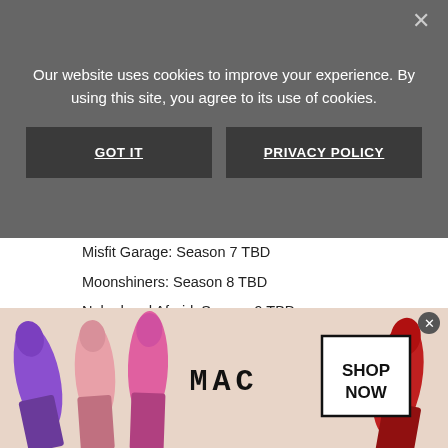[Figure (screenshot): Cookie consent overlay with dark semi-transparent background showing message 'Our website uses cookies to improve your experience. By using this site, you agree to its use of cookies.' with GOT IT and PRIVACY POLICY buttons]
Misfit Garage: Season 7 TBD
Moonshiners: Season 8 TBD
Naked and Afraid: Season 9 TBD
Naked and Afraid XL: Season 5 TBD
Pacific Warriors: Season 2 TBD
Rebel Gold: Season 2 TBD
Rusted Development: Season 3 TBD
Shark After Dark: Season 5 TBD
Still Alive: Season 2 TBD
Street Outlaws: Season 11 TBD
Street Outlaws: Memphis: Officially renewed for Season 2
[Figure (photo): MAC cosmetics advertisement banner showing lipsticks in purple, pink and red colors with MAC logo and SHOP NOW box]